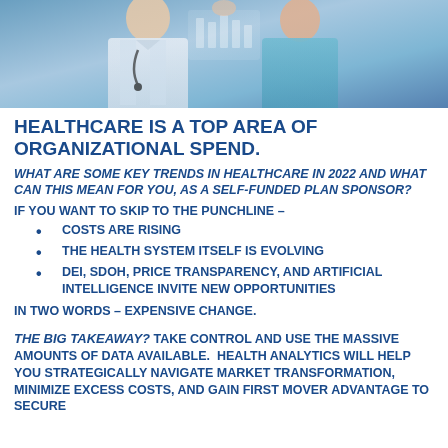[Figure (photo): Medical professionals in white coats and scrubs, doctor and nurse, healthcare setting with stethoscope visible]
HEALTHCARE IS A TOP AREA OF ORGANIZATIONAL SPEND.
WHAT ARE SOME KEY TRENDS IN HEALTHCARE IN 2022 AND WHAT CAN THIS MEAN FOR YOU, AS A SELF-FUNDED PLAN SPONSOR?
IF YOU WANT TO SKIP TO THE PUNCHLINE –
COSTS ARE RISING
THE HEALTH SYSTEM ITSELF IS EVOLVING
DEI, SDOH, PRICE TRANSPARENCY, AND ARTIFICIAL INTELLIGENCE INVITE NEW OPPORTUNITIES
IN TWO WORDS – EXPENSIVE CHANGE.
THE BIG TAKEAWAY? TAKE CONTROL AND USE THE MASSIVE AMOUNTS OF DATA AVAILABLE. HEALTH ANALYTICS WILL HELP YOU STRATEGICALLY NAVIGATE MARKET TRANSFORMATION, MINIMIZE EXCESS COSTS, AND GAIN FIRST MOVER ADVANTAGE TO SECURE